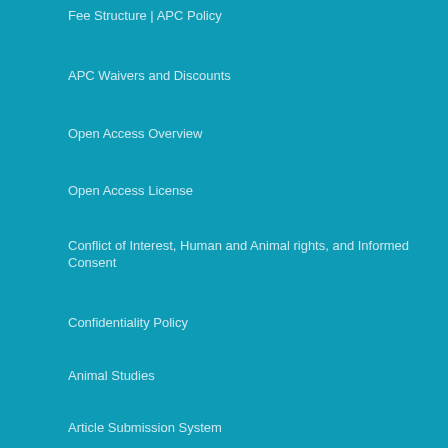Fee Structure | APC Policy
APC Waivers and Discounts
Open Access Overview
Open Access License
Conflict of Interest, Human and Animal rights, and Informed Consent
Confidentiality Policy
Animal Studies
Article Submission System
REQUIREMENT FOR AN ARTICLE
Peer Review Process
Double Blind Review Process